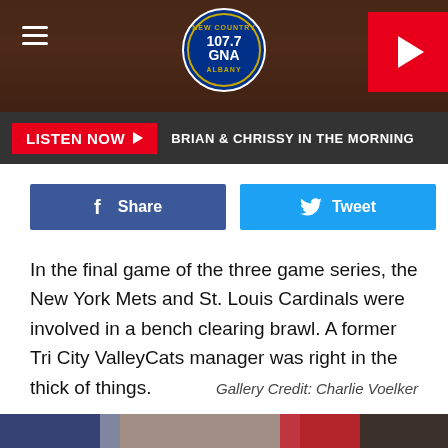[Figure (screenshot): 107.7 GNA New Country Albany radio station website header with logo, hamburger menu, and play button]
LISTEN NOW ▶   BRIAN & CHRISSY IN THE MORNING
[Figure (other): Facebook Share button and Twitter Tweet button]
In the final game of the three game series, the New York Mets and St. Louis Cardinals were involved in a bench clearing brawl. A former Tri City ValleyCats manager was right in the thick of things.
Gallery Credit: Charlie Voelker
[Figure (photo): Baseball bench-clearing brawl between New York Mets and St. Louis Cardinals players including player with BADER jersey number 49]